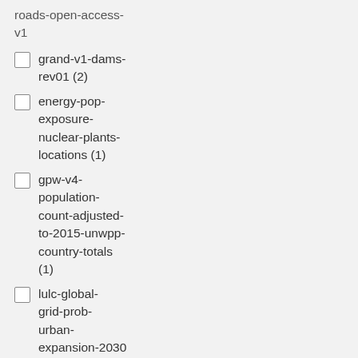roads-open-access-v1
grand-v1-dams-rev01 (2)
energy-pop-exposure-nuclear-plants-locations (1)
gpw-v4-population-count-adjusted-to-2015-unwpp-country-totals (1)
lulc-global-grid-prob-urban-expansion-2030 (1)
Show more